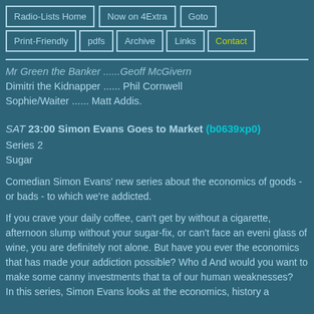Radio-Lists Home | Now on 4Extra | Goto | Print-Friendly | pdfs | Archive | Links | Contact
Mr Green the Banker ......Geoff McGivern
Dimitri the Kidnapper ...... Phil Cornwell
Sophie/Waiter ...... Matt Addis.
SAT 23:00 Simon Evans Goes to Market (b0639xp0)
Series 2
Sugar
Comedian Simon Evans' new series about the economics of goods - or bads - to which we're addicted.
If you crave your daily coffee, can't get by without a cigarette, afternoon slump without your sugar-fix, or can't face an evening glass of wine, you are definitely not alone. But have you ever thought about the economics that has made your addiction possible? Who owns it? And would you want to make some canny investments that take advantage of our human weaknesses?
In this series, Simon Evans looks at the economics, history a...